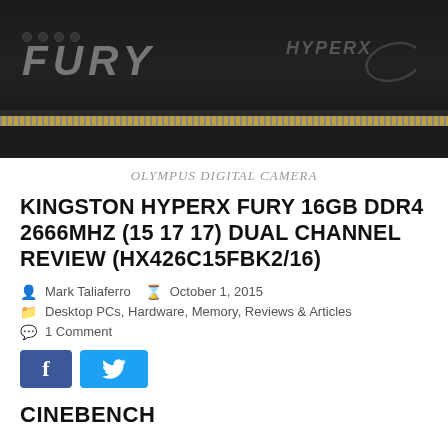[Figure (photo): Kingston HyperX FURY DDR4 RAM stick on black background, showing the black heatspreader with FURY and HyperX logos, and gold connector pins at the bottom.]
OLYMPUS DIGITAL CAMERA
KINGSTON HYPERX FURY 16GB DDR4 2666MHZ (15 17 17) DUAL CHANNEL REVIEW (HX426C15FBK2/16)
Mark Taliaferro   October 1, 2015
Desktop PCs, Hardware, Memory, Reviews & Articles
1 Comment
[Figure (other): Facebook and Twitter social sharing buttons]
CINEBENCH